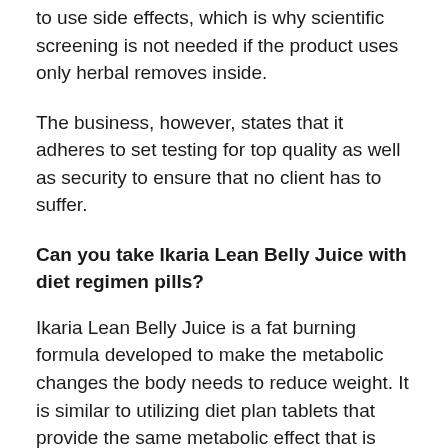to use side effects, which is why scientific screening is not needed if the product uses only herbal removes inside.
The business, however, states that it adheres to set testing for top quality as well as security to ensure that no client has to suffer.
Can you take Ikaria Lean Belly Juice with diet regimen pills?
Ikaria Lean Belly Juice is a fat burning formula developed to make the metabolic changes the body needs to reduce weight. It is similar to utilizing diet plan tablets that provide the same metabolic effect that is needed to slim down. Combining it with a diet plan tablet means you are